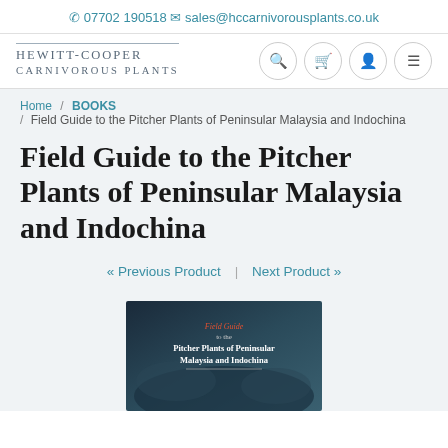07702 190518   sales@hccarnivorousplants.co.uk
[Figure (logo): Hewitt-Cooper Carnivorous Plants logo with navigation icons (search, cart, account, menu)]
Home / BOOKS / Field Guide to the Pitcher Plants of Peninsular Malaysia and Indochina
Field Guide to the Pitcher Plants of Peninsular Malaysia and Indochina
« Previous Product | Next Product »
[Figure (photo): Book cover: Field Guide to the Pitcher Plants of Peninsular Malaysia and Indochina, dark landscape background with book title text]